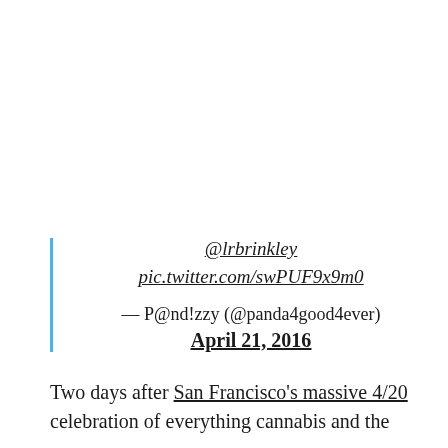@lrbrinkley pic.twitter.com/swPUF9x9m0 — P@nd!zzy (@panda4good4ever) April 21, 2016
Two days after San Francisco's massive 4/20 celebration of everything cannabis and the